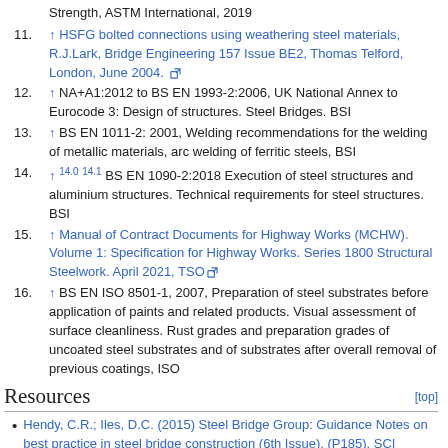11. ↑ HSFG bolted connections using weathering steel materials, R.J.Lark, Bridge Engineering 157 Issue BE2, Thomas Telford, London, June 2004. [external link]
12. ↑ NA+A1:2012 to BS EN 1993-2:2006, UK National Annex to Eurocode 3: Design of structures. Steel Bridges. BSI
13. ↑ BS EN 1011-2: 2001, Welding recommendations for the welding of metallic materials, arc welding of ferritic steels, BSI
14. ↑ 14.0 14.1 BS EN 1090-2:2018 Execution of steel structures and aluminium structures. Technical requirements for steel structures. BSI
15. ↑ Manual of Contract Documents for Highway Works (MCHW). Volume 1: Specification for Highway Works. Series 1800 Structural Steelwork. April 2021, TSO [external link]
16. ↑ BS EN ISO 8501-1, 2007, Preparation of steel substrates before application of paints and related products. Visual assessment of surface cleanliness. Rust grades and preparation grades of uncoated steel substrates and of substrates after overall removal of previous coatings, ISO
Resources
Hendy, C.R.; Iles, D.C. (2015) Steel Bridge Group: Guidance Notes on best practice in steel bridge construction (6th Issue). (P185). SCI